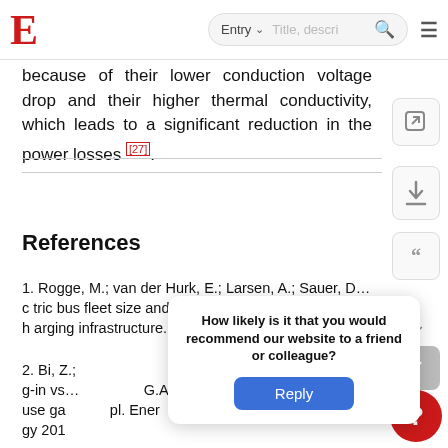E  [navigation bar with Entry search]
because of their lower conduction voltage drop and their higher thermal conductivity, which leads to a significant reduction in the power losses [27].
References
1. Rogge, M.; van der Hurk, E.; Larsen, A.; Sauer, D… c tric bus fleet size and mix problem with optimization … h arging infrastructure. Appl. Energy 2018, 211, 282…
2. Bi, Z.;… g-in vs… G.A. Plu use ga… pl. Ener gy 201…
How likely is it that you would recommend our website to a friend or colleague?  [Reply]